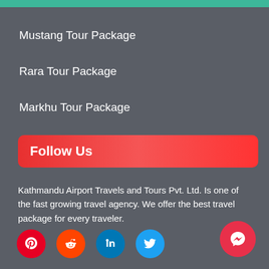Mustang Tour Package
Rara Tour Package
Markhu Tour Package
Follow Us
Kathmandu Airport Travels and Tours Pvt. Ltd. Is one of the fast growing travel agency. We offer the best travel package for every traveler.
[Figure (other): Social media icons: Pinterest (red), Reddit (orange), LinkedIn (blue), Twitter (light blue), and a Messenger floating action button (red)]